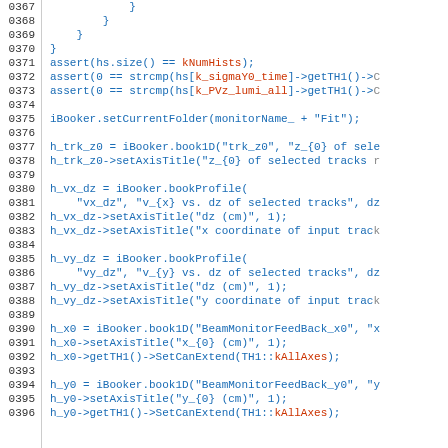Source code listing, lines 0367-0396, C++ code for DQM booking routines